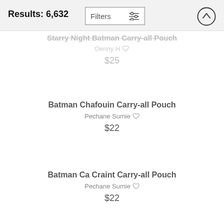Results: 6,632
Starry Night Batman Carry-all Pouch
Denny H
$25
Batman Chafouin Carry-all Pouch
Pechane Sumie
$22
Batman Ca Craint Carry-all Pouch
Pechane Sumie
$22